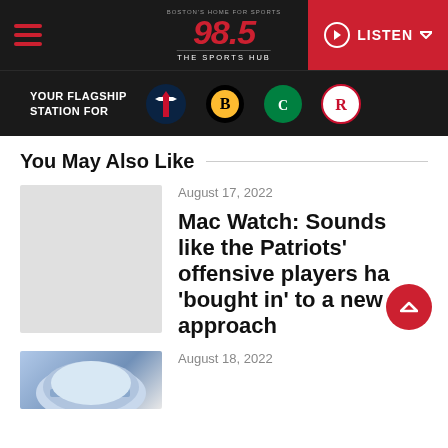[Figure (screenshot): 98.5 The Sports Hub radio station website header with logo, hamburger menu, and LISTEN button]
[Figure (logo): YOUR FLAGSHIP STATION FOR banner with Patriots, Bruins, Celtics, and Revolution team logos]
You May Also Like
[Figure (photo): Gray placeholder thumbnail for article]
August 17, 2022
Mac Watch: Sounds like the Patriots' offensive players have 'bought in' to a new approach
[Figure (photo): Patriots helmet photo thumbnail]
August 18, 2022